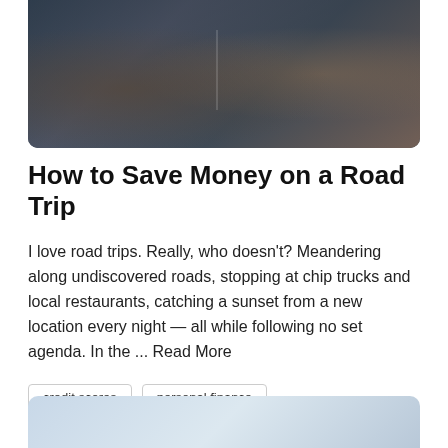[Figure (photo): Photo of people in a car on a road trip, viewed from inside the vehicle]
How to Save Money on a Road Trip
I love road trips. Really, who doesn't? Meandering along undiscovered roads, stopping at chip trucks and local restaurants, catching a sunset from a new location every night — all while following no set agenda. In the ... Read More
credit scores
personal finance
read article →